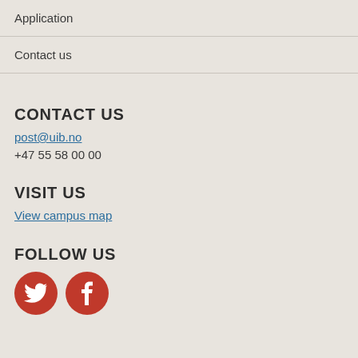Application
Contact us
CONTACT US
post@uib.no
+47 55 58 00 00
VISIT US
View campus map
FOLLOW US
[Figure (illustration): Red circular Twitter bird icon and red circular Facebook 'f' icon side by side]